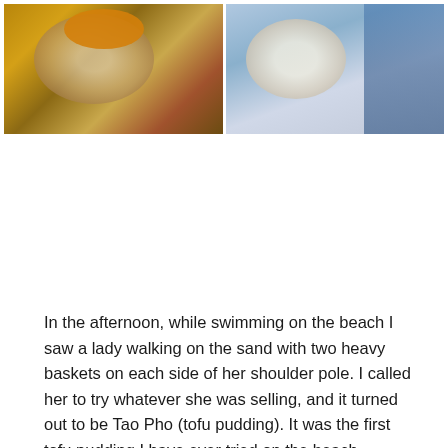[Figure (photo): A wide photo showing two bowls of Vietnamese noodle soup. The left bowl has a dark broth with toppings including golden fried shallots. The right bowl is held by a person wearing a blue striped shirt and using chopsticks.]
In the afternoon, while swimming on the beach I saw a lady walking on the sand with two heavy baskets on each side of her shoulder pole. I called her to try whatever she was selling, and it turned out to be Tao Pho (tofu pudding). It was the first tofu pudding I have ever tried on the beach, because we usually see people selling something like dry squids for grilling, green mango